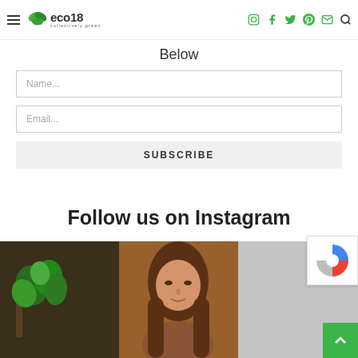eco18 — collectively green — navigation header with social icons
Below
Name...
Email...
SUBSCRIBE
Follow us on Instagram
[Figure (photo): Instagram photo strip showing three images: a plant/herbs in a dark setting, a woman with brown hair, and a grey/neutral image]
[Figure (other): reCAPTCHA badge widget]